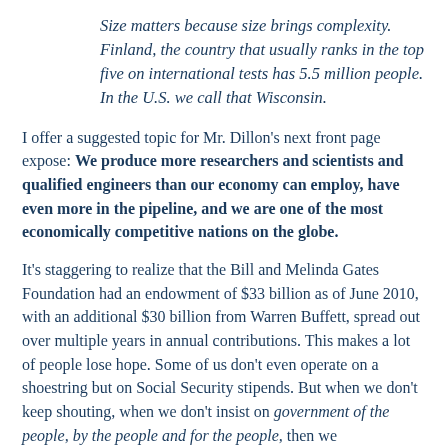Size matters because size brings complexity. Finland, the country that usually ranks in the top five on international tests has 5.5 million people. In the U.S. we call that Wisconsin.
I offer a suggested topic for Mr. Dillon's next front page expose: We produce more researchers and scientists and qualified engineers than our economy can employ, have even more in the pipeline, and we are one of the most economically competitive nations on the globe.
It's staggering to realize that the Bill and Melinda Gates Foundation had an endowment of $33 billion as of June 2010, with an additional $30 billion from Warren Buffett, spread out over multiple years in annual contributions. This makes a lot of people lose hope. Some of us don't even operate on a shoestring but on Social Security stipends. But when we don't keep shouting, when we don't insist on government of the people, by the people and for the people, then we